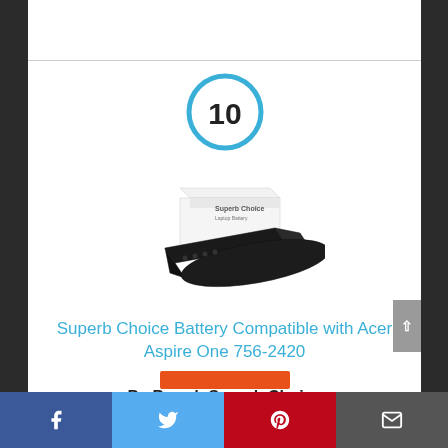[Figure (other): Number 10 inside a cyan/teal circle badge]
[Figure (photo): Product photo of Superb Choice laptop battery with box packaging]
Superb Choice Battery Compatible with Acer Aspire One 756-2420
By Brand: Superb Choice
Facebook | Twitter | Pinterest | Email social sharing bar